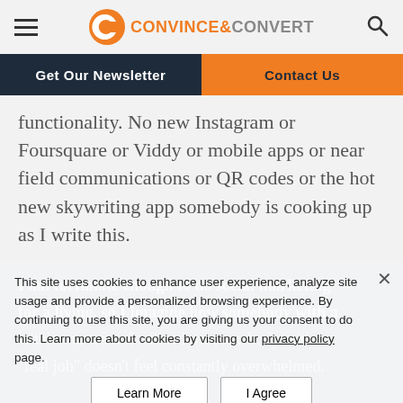Convince & Convert — site header with hamburger menu, logo, and search icon
Get Our Newsletter | Contact Us
functionality. No new Instagram or Foursquare or Viddy or mobile apps or near field communications or QR codes or the hot new skywriting app somebody is cooking up as I write this.
I am fortunate enough to do social marketing for a living, so I imagine how somebody with a "real job" doesn't feel constantly overwhelmed.
This site uses cookies to enhance user experience, analyze site usage and provide a personalized browsing experience. By continuing to use this site, you are giving us your consent to do this. Learn more about cookies by visiting our privacy policy page.
Let's focus on doing just a few things better, and